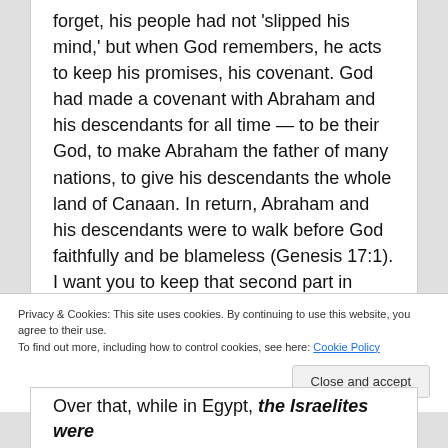covenant, his promise, with his people. God didn't forget, his people had not 'slipped his mind,' but when God remembers, he acts to keep his promises, his covenant. God had made a covenant with Abraham and his descendants for all time — to be their God, to make Abraham the father of many nations, to give his descendants the whole land of Canaan. In return, Abraham and his descendants were to walk before God faithfully and be blameless (Genesis 17:1). I want you to keep that second part in mind as we'll return to it.
Privacy & Cookies: This site uses cookies. By continuing to use this website, you agree to their use.
To find out more, including how to control cookies, see here: Cookie Policy
Close and accept
Over that, while in Egypt, the Israelites were